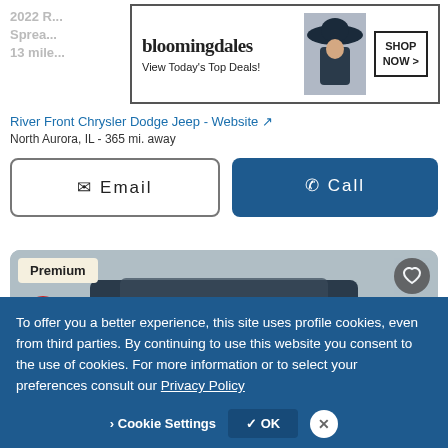2022 R... Sprea... 13 mile...
[Figure (screenshot): Bloomingdale's advertisement banner with logo, 'View Today's Top Deals!' text, model with hat, and 'SHOP NOW >' button]
River Front Chrysler Dodge Jeep - Website
North Aurora, IL - 365 mi. away
Email
Call
[Figure (photo): Front view of a dark blue truck (RAM) in a dealership lot, with 'Premium' badge, '7% Off!' red circle badge, and heart/favorite icon button]
To offer you a better experience, this site uses profile cookies, even from third parties. By continuing to use this website you consent to the use of cookies. For more information or to select your preferences consult our Privacy Policy
Cookie Settings
OK